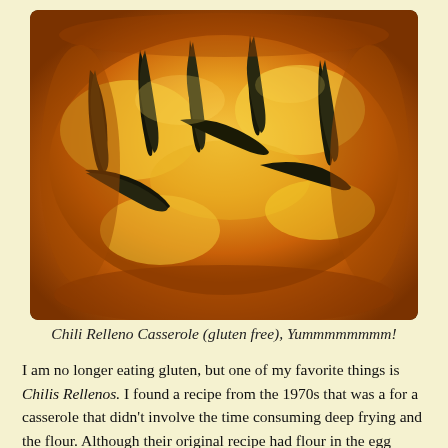[Figure (photo): Photo of a baked Chili Relleno Casserole in a dark baking dish, showing golden-brown egg batter with roasted dark green/charred chili peppers visible on top.]
Chili Relleno Casserole (gluten free), Yummmmmmmm!
I am no longer eating gluten, but one of my favorite things is Chilis Rellenos. I found a recipe from the 1970s that was a for a casserole that didn't involve the time consuming deep frying and the flour. Although their original recipe had flour in the egg mixture. I adapted their recipe to make these. I did use about 1/2 cup masa/corn flour, but you could